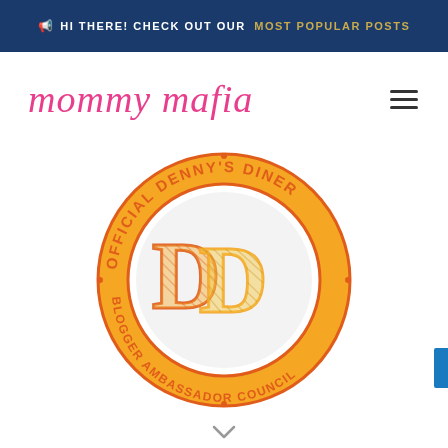🔔 HI THERE! CHECK OUT OUR MOST POPULAR POSTS
mommy mafia
[Figure (logo): Official Denny's Diner Blogger Ambassador Council circular badge/seal logo with orange and red colors and 'DD' initials in center]
[Figure (other): Scroll down arrow indicator at bottom of page]